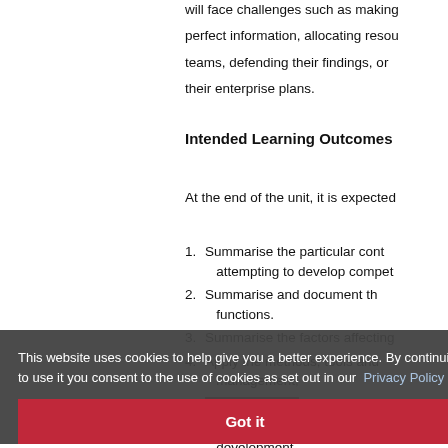will face challenges such as making perfect information, allocating resources to teams, defending their findings, or their enterprise plans.
Intended Learning Outcomes
At the end of the unit, it is expected
1. Summarise the particular context attempting to develop competencies,
2. Summarise and document the functions,
3. Summarise the factors affecting
4. Apply the methods, tools and management,
5. Reflect critically on case studies
6. Apply strategic thinking for sustainable development.
This website uses cookies to help give you a better experience. By continuing to use it you consent to the use of cookies as set out in our Privacy Policy